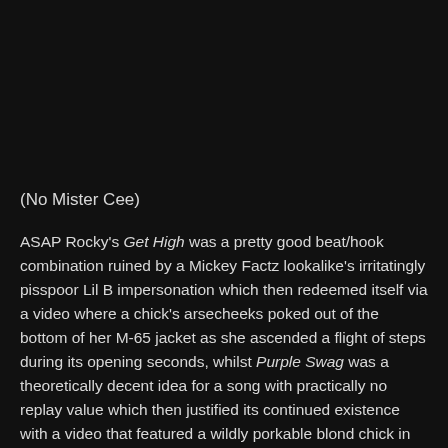[Figure (photo): Large black/dark area at the top of the page, likely a video thumbnail or image placeholder]
(No Mister Cee)
ASAP Rocky's Get High was a pretty good beat/hook combination ruined by a Mickey Factz lookalike's irritatingly pisspoor Lil B impersonation which then redeemed itself via a video where a chick's arsecheeks poked out of the bottom of her M-65 jacket as she ascended a flight of steps during its opening seconds, whilst Purple Swag was a theoretically decent idea for a song with practically no replay value which then justified its continued existence with a video that featured a wildly porkable blond chick in 'fronts, the first rap-blogger cameo since Naz got all up in that footage of C-Sid...